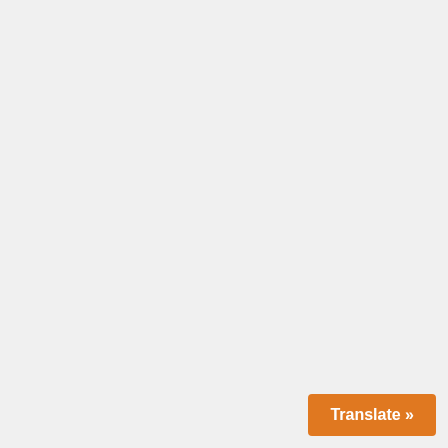enewbiethroughh-frommosts
Translate »